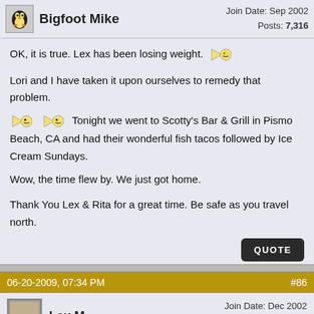Bigfoot Mike — Join Date: Sep 2002, Posts: 7,316
OK, it is true. Lex has been losing weight.

Lori and I have taken it upon ourselves to remedy that problem. Tonight we went to Scotty's Bar & Grill in Pismo Beach, CA and had their wonderful fish tacos followed by Ice Cream Sundays.

Wow, the time flew by. We just got home.

Thank You Lex & Rita for a great time. Be safe as you travel north.
QUOTE
06-20-2009, 07:34 PM — #86
Lex M — Join Date: Dec 2002, Posts: 274, Registry
Quote: